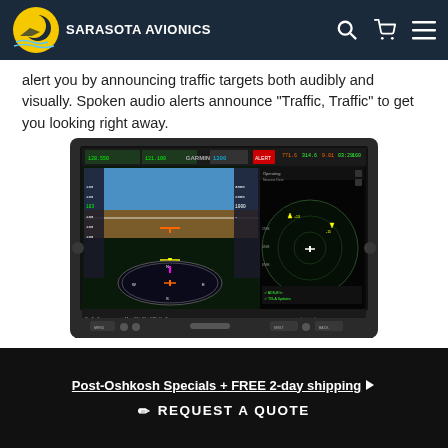Sarasota Avionics
alert you by announcing traffic targets both audibly and visually. Spoken audio alerts announce "Traffic, Traffic" to get you looking right away.
[Figure (photo): Garmin avionics display unit showing flight instruments, navigation, and traffic display on a large widescreen panel]
Post-Oshkosh Specials + FREE 2-day shipping ▶  ✏ REQUEST A QUOTE